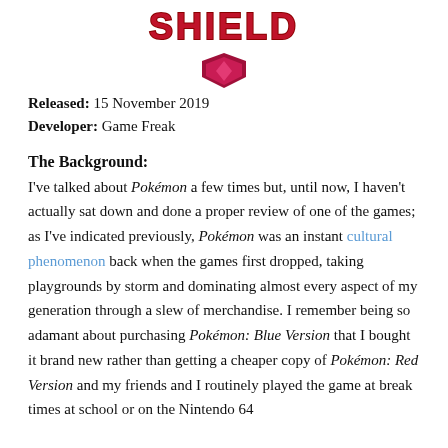[Figure (logo): Pokémon Shield game logo — stylized red text 'SHIELD' with a pink/crimson shield emblem below it]
Released: 15 November 2019
Developer: Game Freak
The Background:
I've talked about Pokémon a few times but, until now, I haven't actually sat down and done a proper review of one of the games; as I've indicated previously, Pokémon was an instant cultural phenomenon back when the games first dropped, taking playgrounds by storm and dominating almost every aspect of my generation through a slew of merchandise. I remember being so adamant about purchasing Pokémon: Blue Version that I bought it brand new rather than getting a cheaper copy of Pokémon: Red Version and my friends and I routinely played the game at break times at school or on the Nintendo 64